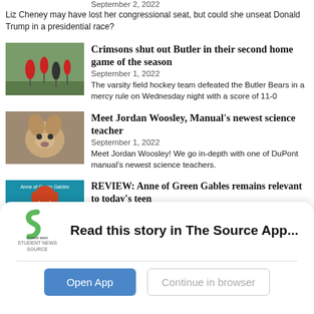September 2, 2022
Liz Cheney may have lost her congressional seat, but could she unseat Donald Trump in a presidential race?
[Figure (photo): Sports field hockey players on a field]
Crimsons shut out Butler in their second home game of the season
September 1, 2022
The varsity field hockey team defeated the Butler Bears in a mercy rule on Wednesday night with a score of 11-0
[Figure (photo): A dog, possibly a puppy, looking at the camera]
Meet Jordan Woosley, Manual's newest science teacher
September 1, 2022
Meet Jordan Woosley! We go in-depth with one of DuPont manual's newest science teachers.
[Figure (photo): Anne of Green Gables book cover illustration with a girl with red hair on a blue background]
REVIEW: Anne of Green Gables remains relevant to today's teen
[Figure (logo): Student News Source app logo - green S shape with text 'STUDENT NEWS SOURCE' below]
Read this story in The Source App...